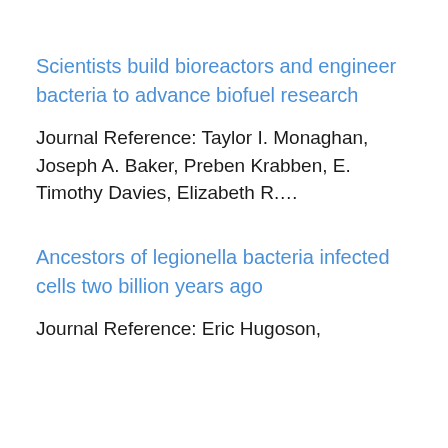Scientists build bioreactors and engineer bacteria to advance biofuel research
Journal Reference: Taylor I. Monaghan, Joseph A. Baker, Preben Krabben, E. Timothy Davies, Elizabeth R....
Ancestors of legionella bacteria infected cells two billion years ago
Journal Reference: Eric Hugoson,